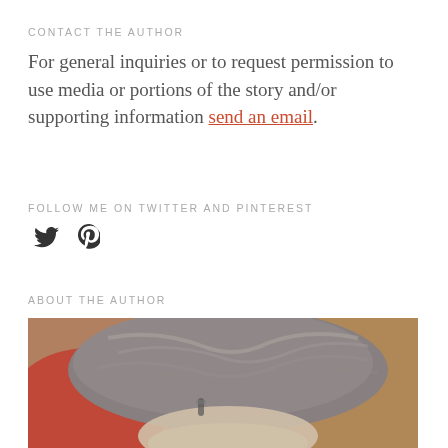CONTACT THE AUTHOR
For general inquiries or to request permission to use media or portions of the story and/or supporting information send an email.
FOLLOW ME ON TWITTER AND PINTEREST
[Figure (illustration): Twitter and Pinterest social media icons (bird and P symbols)]
ABOUT THE AUTHOR
[Figure (photo): Close-up photo of a person with gray hair, partially cropped, wearing red clothing, against a warm brown background]